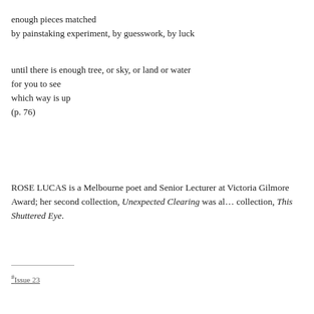enough pieces matched
by painstaking experiment, by guesswork, by luck
until there is enough tree, or sky, or land or water
for you to see
which way is up
(p. 76)
ROSE LUCAS is a Melbourne poet and Senior Lecturer at Victoria… Gilmore Award; her second collection, Unexpected Clearing was al… collection, This Shuttered Eye.
#Issue 23